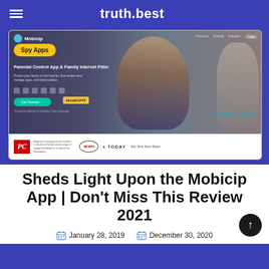truth.best
[Figure (screenshot): Screenshot of the Mobicip website showing a Parental Control App & Family Internet Filter with a yellow 'Spy Apps' badge, children using tablets, media logos (PC Magazine, NewsChannel 5, TODAY, The New York Times), and a TRUTH.BEST watermark.]
Sheds Light Upon the Mobicip App | Don't Miss This Review 2021
January 28, 2019   December 30, 2020